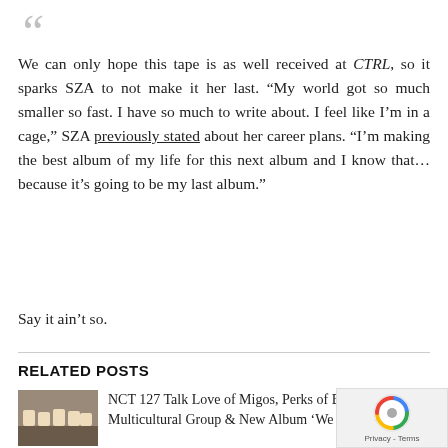“”
We can only hope this tape is as well received at CTRL, so it sparks SZA to not make it her last. “My world got so much smaller so fast. I have so much to write about. I feel like I’m in a cage,” SZA previously stated about her career plans. “I’m making the best album of my life for this next album and I know that… because it’s going to be my last album.”
Say it ain’t so.
RELATED POSTS
NCT 127 Talk Love of Migos, Perks of Being a Multicultural Group & New Album ‘We Are